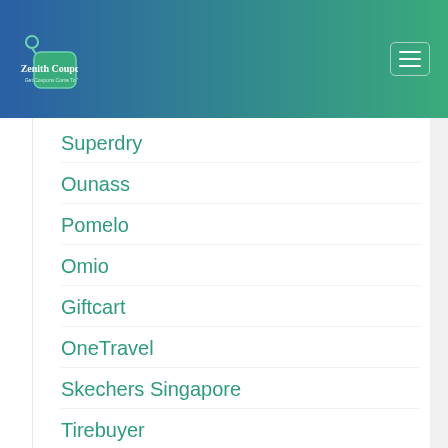Zenith Coupons — Get Coupons Come To You
Superdry
Ounass
Pomelo
Omio
Giftcart
OneTravel
Skechers Singapore
Tirebuyer
Matalan